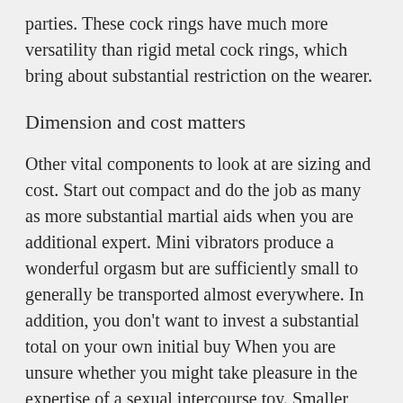parties. These cock rings have much more versatility than rigid metal cock rings, which bring about substantial restriction on the wearer.
Dimension and cost matters
Other vital components to look at are sizing and cost. Start out compact and do the job as many as more substantial martial aids when you are additional expert. Mini vibrators produce a wonderful orgasm but are sufficiently small to generally be transported almost everywhere. In addition, you don't want to invest a substantial total on your own initial buy When you are unsure whether you might take pleasure in the expertise of a sexual intercourse toy. Smaller vibrators start off from as low as £four, jelly dildos are everything from £10 and cock rings retail from as very little as £2 and as a consequence tend not to lead to a substantial